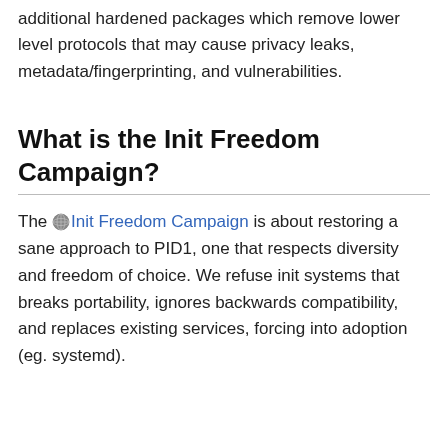additional hardened packages which remove lower level protocols that may cause privacy leaks, metadata/fingerprinting, and vulnerabilities.
What is the Init Freedom Campaign?
The Init Freedom Campaign is about restoring a sane approach to PID1, one that respects diversity and freedom of choice. We refuse init systems that breaks portability, ignores backwards compatibility, and replaces existing services, forcing into adoption (eg. systemd).